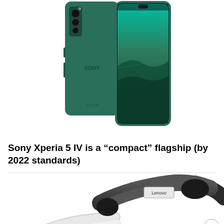[Figure (photo): Sony Xperia 5 IV smartphone shown from the back (green color with SONY branding and triple camera) alongside the front display showing a green gradient wallpaper]
Sony Xperia 5 IV is a “compact” flagship (by 2022 standards)
[Figure (photo): Lenovo smart glasses/AR glasses shown in dark gray/black color with white nose pads, Lenovo logo visible on the bridge]